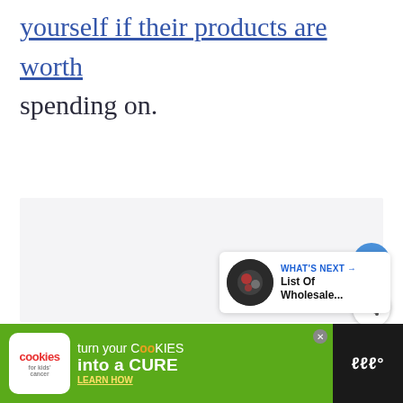yourself if their products are worth spending on.
[Figure (screenshot): Light gray content area placeholder]
[Figure (other): Heart (like) button - blue circle with white heart icon]
[Figure (other): Share button - white circle with share icon]
[Figure (other): What's Next panel with thumbnail and text: 'List Of Wholesale...']
[Figure (other): Advertisement banner: Cookies for Kids Cancer - turn your cookies into a CURE - LEARN HOW]